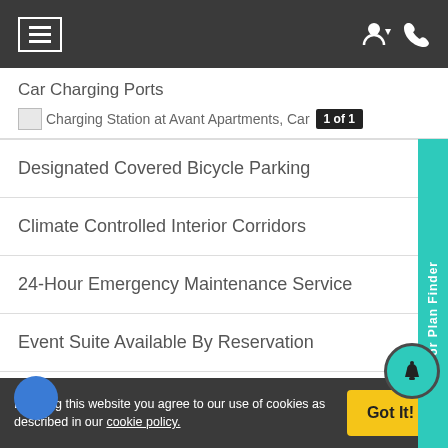Navigation bar with hamburger menu and icons
Car Charging Ports
[Figure (photo): Charging Station at Avant Apartments, Car - 1 of 1]
Designated Covered Bicycle Parking
Climate Controlled Interior Corridors
24-Hour Emergency Maintenance Service
Event Suite Available By Reservation
1 of 1
By using this website you agree to our use of cookies as described in our cookie policy.